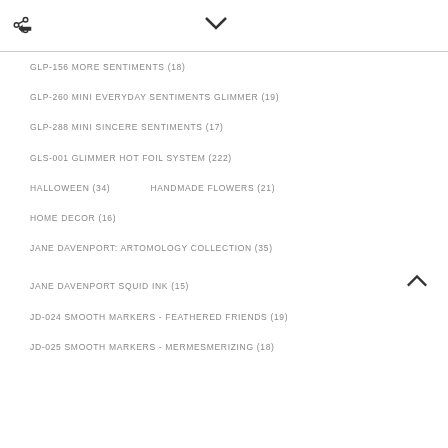GLP-156 MORE SENTIMENTS (18)
GLP-260 MINI EVERYDAY SENTIMENTS GLIMMER (19)
GLP-288 MINI SINCERE SENTIMENTS (17)
GLS-001 GLIMMER HOT FOIL SYSTEM (222)
HALLOWEEN (34)    HANDMADE FLOWERS (21)
HOME DECOR (16)
JANE DAVENPORT: ARTOMOLOGY COLLECTION (35)
JANE DAVENPORT SQUID INK (15)
JD-024 SMOOTH MARKERS - FEATHERED FRIENDS (19)
JD-025 SMOOTH MARKERS - MERMESMERIZING (18)